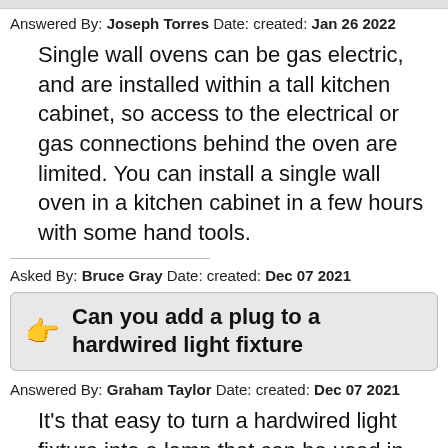Answered By: Joseph Torres Date: created: Jan 26 2022
Single wall ovens can be gas electric, and are installed within a tall kitchen cabinet, so access to the electrical or gas connections behind the oven are limited. You can install a single wall oven in a kitchen cabinet in a few hours with some hand tools.
Asked By: Bruce Gray Date: created: Dec 07 2021
Can you add a plug to a hardwired light fixture
Answered By: Graham Taylor Date: created: Dec 07 2021
It's that easy to turn a hardwired light fixture into a lamp that can be used in